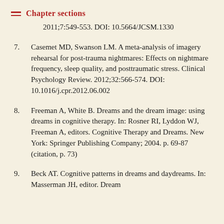Chapter sections
2011;7:549-553. DOI: 10.5664/JCSM.1330
7. Casemet MD, Swanson LM. A meta-analysis of imagery rehearsal for post-trauma nightmares: Effects on nightmare frequency, sleep quality, and posttraumatic stress. Clinical Psychology Review. 2012;32:566-574. DOI: 10.1016/j.cpr.2012.06.002
8. Freeman A, White B. Dreams and the dream image: using dreams in cognitive therapy. In: Rosner RI, Lyddon WJ, Freeman A, editors. Cognitive Therapy and Dreams. New York: Springer Publishing Company; 2004. p. 69-87 (citation, p. 73)
9. Beck AT. Cognitive patterns in dreams and daydreams. In: Masserman JH, editor. Dream